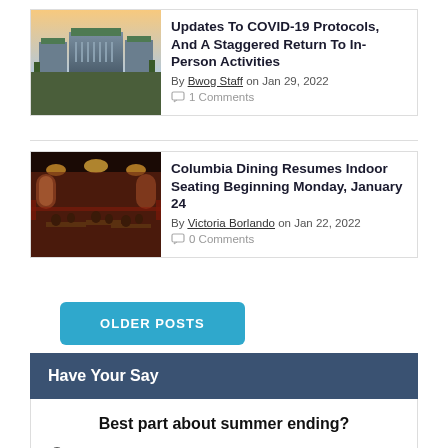[Figure (photo): Aerial view of Columbia University campus buildings with green roofs at dusk]
Updates To COVID-19 Protocols, And A Staggered Return To In-Person Activities
By Bwog Staff on Jan 29, 2022
1 Comments
[Figure (photo): Interior of Columbia dining hall with warm lighting, red decor, and students seated at tables]
Columbia Dining Resumes Indoor Seating Beginning Monday, January 24
By Victoria Borlando on Jan 22, 2022
0 Comments
OLDER POSTS
Have Your Say
Best part about summer ending?
Receiving academic validation again